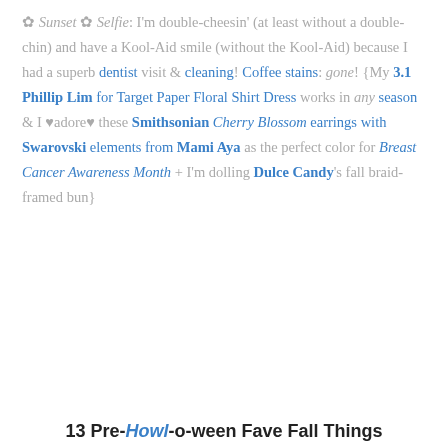✿ Sunset ✿ Selfie: I'm double-cheesin' (at least without a double-chin) and have a Kool-Aid smile (without the Kool-Aid) because I had a superb dentist visit & cleaning! Coffee stains: gone! {My 3.1 Phillip Lim for Target Paper Floral Shirt Dress works in any season & I ♥adore♥ these Smithsonian Cherry Blossom earrings with Swarovski elements from Mami Aya as the perfect color for Breast Cancer Awareness Month + I'm dolling Dulce Candy's fall braid-framed bun}
13 Pre-Howl-o-ween Fave Fall Things